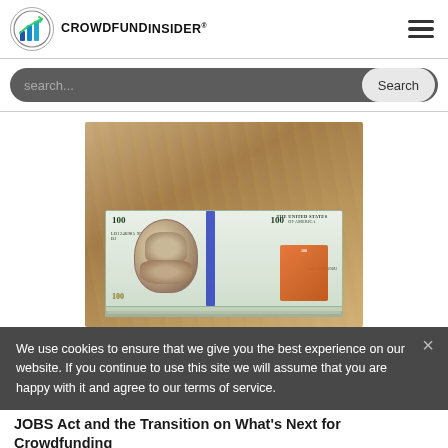CROWDFUND INSIDER
[Figure (photo): Stack of US $100 bills on a wooden surface]
We use cookies to ensure that we give you the best experience on our website. If you continue to use this site we will assume that you are happy with it and agree to our terms of service.
JOBS Act and the Transition on What's Next for Crowdfunding
Investment crowdfunding continues to iterate